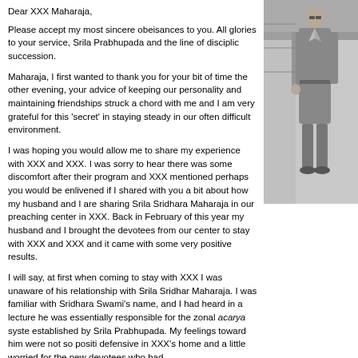Dear XXX Maharaja,
[Figure (photo): Black and white photograph of a person in a long coat or robe standing outdoors]
Please accept my most sincere obeisances to you. All glories to your service, Srila Prabhupada and the line of disciplic succession.
Maharaja, I first wanted to thank you for your bit of time the other evening, your advice of keeping our personality and maintaining friendships struck a chord with me and I am very grateful for this 'secret' in staying steady in our often difficult environment.
I was hoping you would allow me to share my experience with XXX and XXX. I was sorry to hear there was some discomfort after their program and XXX mentioned perhaps you would be enlivened if I shared with you a bit about how my husband and I are sharing Srila Sridhara Maharaja in our preaching center in XXX. Back in February of this year my husband and I brought the devotees from our center to stay with XXX and XXX and it came with some very positive results.
I will say, at first when coming to stay with XXX I was unaware of his relationship with Srila Sridhar Maharaja. I was familiar with Sridhara Swami's name, and I had heard in a lecture he was essentially responsible for the zonal acarya system established by Srila Prabhupada. My feelings toward him were not so positive, defensive in XXX's home and a little worried for the new devotees who had